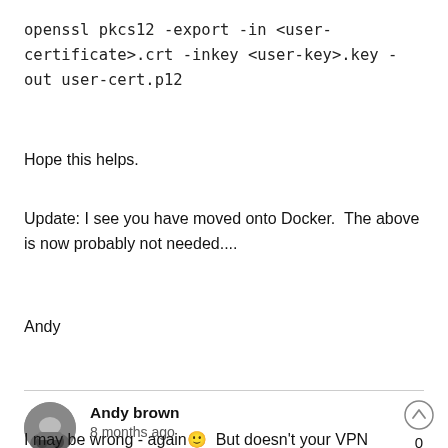openssl pkcs12 -export -in <user-certificate>.crt -inkey <user-key>.key -out user-cert.p12
Hope this helps.
Update: I see you have moved onto Docker.  The above is now probably not needed....
Andy
Andy brown
8 months ago
0
I may be wrong - again😊  But doesn't your VPN